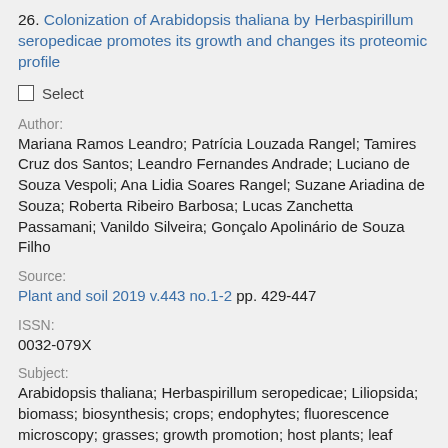26. Colonization of Arabidopsis thaliana by Herbaspirillum seropedicae promotes its growth and changes its proteomic profile
Select
Author:
Mariana Ramos Leandro; Patrícia Louzada Rangel; Tamires Cruz dos Santos; Leandro Fernandes Andrade; Luciano de Souza Vespoli; Ana Lidia Soares Rangel; Suzane Ariadina de Souza; Roberta Ribeiro Barbosa; Lucas Zanchetta Passamani; Vanildo Silveira; Gonçalo Apolinário de Souza Filho
Source:
Plant and soil 2019 v.443 no.1-2 pp. 429-447
ISSN:
0032-079X
Subject:
Arabidopsis thaliana; Herbaspirillum seropedicae; Liliopsida; biomass; biosynthesis; crops; endophytes; fluorescence microscopy; grasses; growth promotion; host plants; leaf